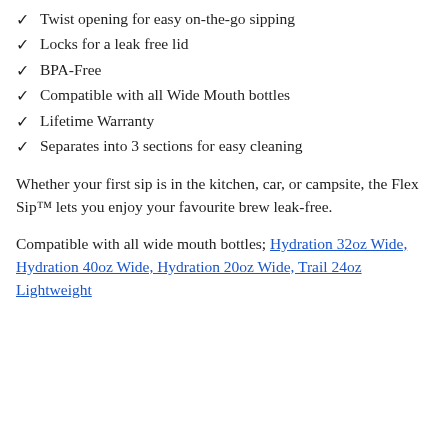✓ Twist opening for easy on-the-go sipping
✓ Locks for a leak free lid
✓ BPA-Free
✓ Compatible with all Wide Mouth bottles
✓ Lifetime Warranty
✓ Separates into 3 sections for easy cleaning
Whether your first sip is in the kitchen, car, or campsite, the Flex Sip™ lets you enjoy your favourite brew leak-free.
Compatible with all wide mouth bottles; Hydration 32oz Wide, Hydration 40oz Wide, Hydration 20oz Wide, Trail 24oz Lightweight